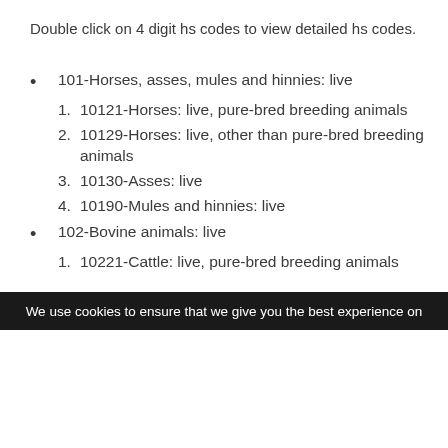Double click on 4 digit hs codes to view detailed hs codes.
101-Horses, asses, mules and hinnies: live
10121-Horses: live, pure-bred breeding animals
10129-Horses: live, other than pure-bred breeding animals
10130-Asses: live
10190-Mules and hinnies: live
102-Bovine animals: live
10221-Cattle: live, pure-bred breeding animals
We use cookies to ensure that we give you the best experience on